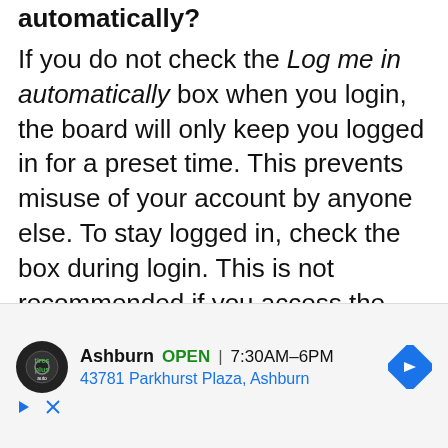automatically?
If you do not check the Log me in automatically box when you login, the board will only keep you logged in for a preset time. This prevents misuse of your account by anyone else. To stay logged in, check the box during login. This is not recommended if you access the board from a shared computer, e.g. library, internet cafe, university computer lab,
[Figure (other): Advertisement banner for Tires Plus Ashburn location. Shows logo, 'Ashburn OPEN 7:30AM-6PM', address '43781 Parkhurst Plaza, Ashburn', and a navigation arrow icon.]